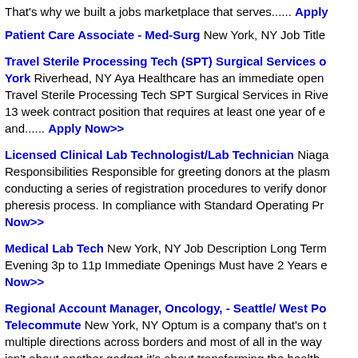That's why we built a jobs marketplace that serves...... Apply
Patient Care Associate - Med-Surg New York, NY Job Title
Travel Sterile Processing Tech (SPT) Surgical Services of New York Riverhead, NY Aya Healthcare has an immediate opening for a Travel Sterile Processing Tech SPT Surgical Services in Rive... 13 week contract position that requires at least one year of e... and...... Apply Now>>
Licensed Clinical Lab Technologist/Lab Technician Niaga... Responsibilities Responsible for greeting donors at the plasm... conducting a series of registration procedures to verify donor... pheresis process. In compliance with Standard Operating Pr... Apply Now>>
Medical Lab Tech New York, NY Job Description Long Term Evening 3p to 11p Immediate Openings Must have 2 Years e... Apply Now>>
Regional Account Manager, Oncology, - Seattle/ West Po... Telecommute New York, NY Optum is a company that's on t... multiple directions across borders and most of all in the way... isn't about another gadget it's about transforming the health... make... Apply Now>>